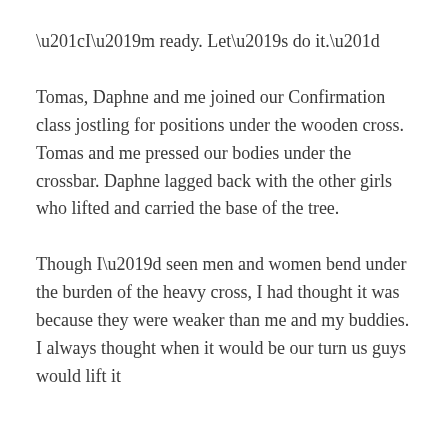“I’m ready. Let’s do it.”
Tomas, Daphne and me joined our Confirmation class jostling for positions under the wooden cross. Tomas and me pressed our bodies under the crossbar. Daphne lagged back with the other girls who lifted and carried the base of the tree.
Though I’d seen men and women bend under the burden of the heavy cross, I had thought it was because they were weaker than me and my buddies. I always thought when it would be our turn us guys would lift it